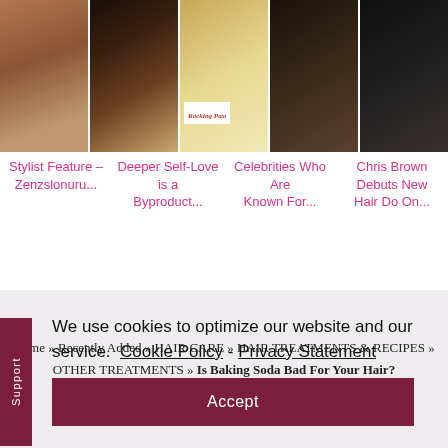[Figure (photo): Row of five hair/beauty related photos at top of webpage]
Stylist Feature – Zenzslonuru
Deeper Self-Love is a Byproduct...
Celebrities Who Are Known For...
Chris Brown Debuts New Hair Do On...
We use cookies to optimize our website and our service.  Cookie Policy  -  Privacy Statement
Accept
Home » Recently Added » HAIR CARE » HAIR TREATMENTS & RECIPES » OTHER TREATMENTS » Is Baking Soda Bad For Your Hair?